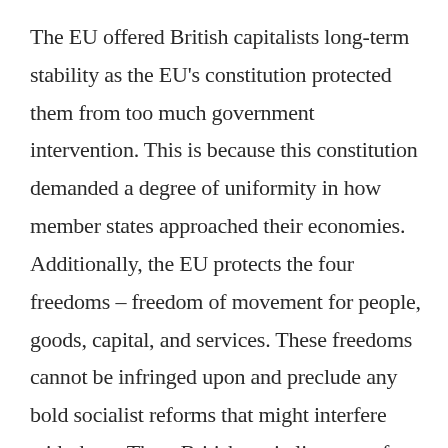The EU offered British capitalists long-term stability as the EU's constitution protected them from too much government intervention. This is because this constitution demanded a degree of uniformity in how member states approached their economies. Additionally, the EU protects the four freedoms – freedom of movement for people, goods, capital, and services. These freedoms cannot be infringed upon and preclude any bold socialist reforms that might interfere with them. Thus, British capitalists were free from invasive government intervention in the economy, had access to European labour that they could exploit to a greater degree than they can get away with when employing their native population, and had tariff-free